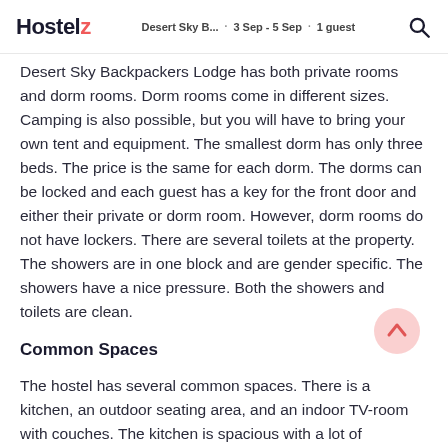Hostelz · Desert Sky B... · 3 Sep - 5 Sep · 1 guest
Desert Sky Backpackers Lodge has both private rooms and dorm rooms. Dorm rooms come in different sizes. Camping is also possible, but you will have to bring your own tent and equipment. The smallest dorm has only three beds. The price is the same for each dorm. The dorms can be locked and each guest has a key for the front door and either their private or dorm room. However, dorm rooms do not have lockers. There are several toilets at the property. The showers are in one block and are gender specific. The showers have a nice pressure. Both the showers and toilets are clean.
Common Spaces
The hostel has several common spaces. There is a kitchen, an outdoor seating area, and an indoor TV-room with couches. The kitchen is spacious with a lot of counter space. There are common chairs and tables...